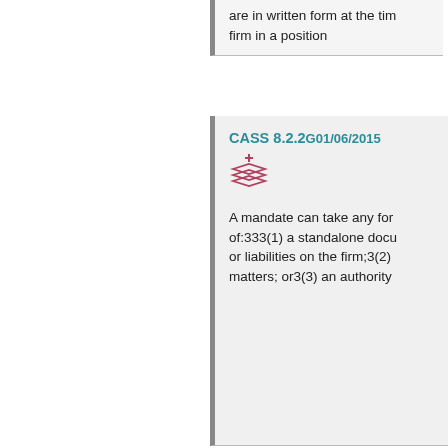are in written form at the time of the firm in a position
CASS 8.2.2G01/06/2015
A mandate can take any form of:333(1) a standalone document or liabilities on the firm;3(2) matters; or3(3) an authority
CASS 8.2.4G01/01/2013
The instructions referred to has a relationship with the firm custodian or credit card provider client's money or assets for